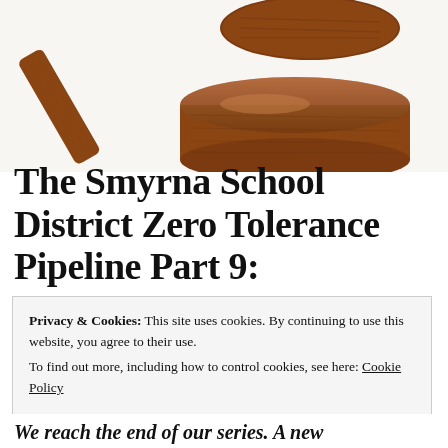[Figure (photo): Close-up photo of a wooden judge's gavel resting on its sound block, photographed against a white background. Only the top portion of the gavel and block are visible.]
The Smyrna School District Zero Tolerance Pipeline Part 9:
Privacy & Cookies: This site uses cookies. By continuing to use this website, you agree to their use.
To find out more, including how to control cookies, see here: Cookie Policy
Close and accept
We reach the end of our series. A new